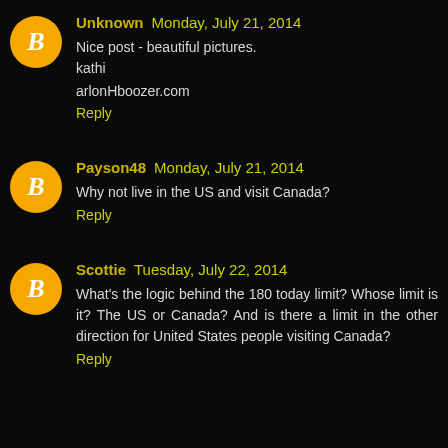Unknown Monday, July 21, 2014
Nice post - beautiful pictures.
kathi
arlonHboozer.com
Reply
Payson48 Monday, July 21, 2014
Why not live in the US and visit Canada?
Reply
Scottie Tuesday, July 22, 2014
What's the logic behind the 180 today limit? Whose limit is it? The US or Canada? And is there a limit in the other direction for United States people visiting Canada?
Reply